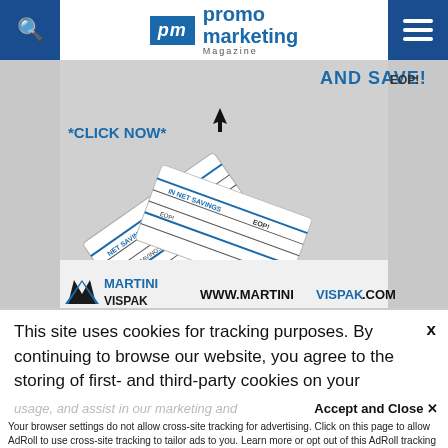promo marketing Magazine
[Figure (photo): Advertisement for Martini Vispak showing printed label rolls with text 'CLICK NOW', 'AND SAVE!', 'EOP!', 'IN NET SAVINGS', and website www.martinivispak.com with Martini Vispak logo]
This site uses cookies for tracking purposes. By continuing to browse our website, you agree to the storing of first- and third-party cookies on your device to enhance site navigation, analyze site usage, and assist in our marketing and
Accept and Close ✕
Your browser settings do not allow cross-site tracking for advertising. Click on this page to allow AdRoll to use cross-site tracking to tailor ads to you. Learn more or opt out of this AdRoll tracking by clicking here. This message only appears once.